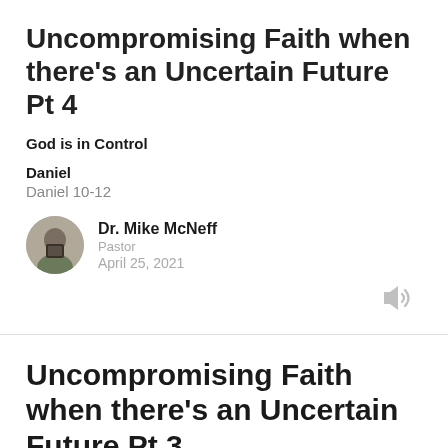Uncompromising Faith when there's an Uncertain Future Pt 4
God is in Control
Daniel
Daniel 10-12
Dr. Mike McNeff
Pastor
April 25, 2021
[Figure (other): Audio speaker icon]
Uncompromising Faith when there's an Uncertain Future Pt 3
Daniel is given insight into God's purposes.